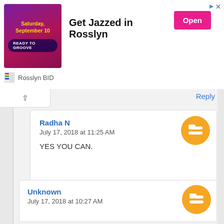[Figure (infographic): Advertisement banner for 'Get Jazzed in Rosslyn' event on Saturday, September 10, with a 'Ready to Groove' label, Open button, and Rosslyn BID branding.]
Reply
Radha N
July 17, 2018 at 11:25 AM

YES YOU CAN.
Reply
Unknown
July 17, 2018 at 10:27 AM